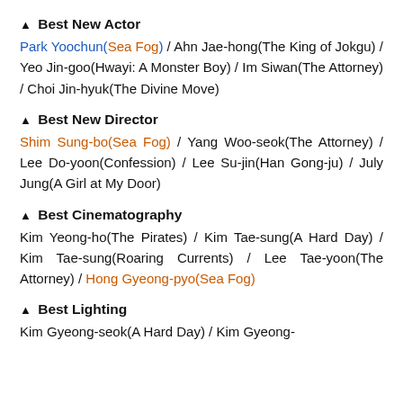▲ Best New Actor
Park Yoochun(Sea Fog) / Ahn Jae-hong(The King of Jokgu) / Yeo Jin-goo(Hwayi: A Monster Boy) / Im Siwan(The Attorney) / Choi Jin-hyuk(The Divine Move)
▲ Best New Director
Shim Sung-bo(Sea Fog) / Yang Woo-seok(The Attorney) / Lee Do-yoon(Confession) / Lee Su-jin(Han Gong-ju) / July Jung(A Girl at My Door)
▲ Best Cinematography
Kim Yeong-ho(The Pirates) / Kim Tae-sung(A Hard Day) / Kim Tae-sung(Roaring Currents) / Lee Tae-yoon(The Attorney) / Hong Gyeong-pyo(Sea Fog)
▲ Best Lighting
Kim Gyeong-seok(A Hard Day) / Kim Gyeong-